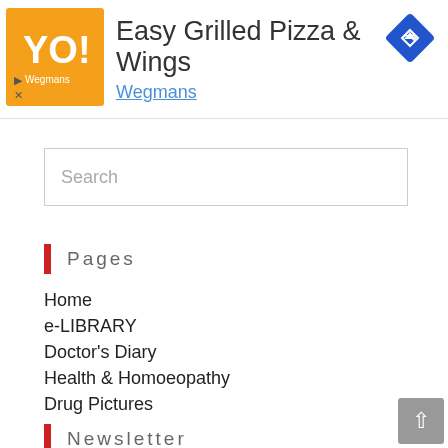[Figure (screenshot): Advertisement banner for Easy Grilled Pizza & Wings from Wegmans with an orange logo, navigation arrow icon, and play/close controls]
Search
Pages
Home
e-LIBRARY
Doctor's Diary
Health & Homoeopathy
Drug Pictures
Latest Homoeopathy Jobs News
BMI Calculator
Newsletter